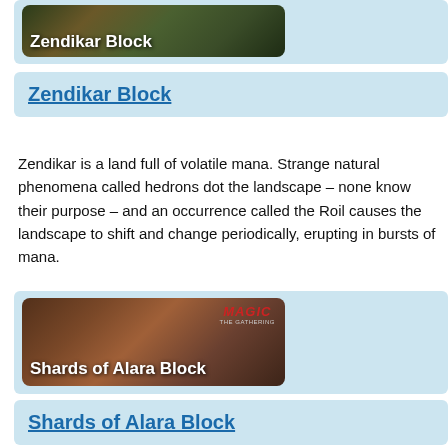[Figure (illustration): Zendikar Block banner image showing fantasy landscape with creatures, dark tones, text overlay reading 'Zendikar Block']
Zendikar Block
Zendikar is a land full of volatile mana. Strange natural phenomena called hedrons dot the landscape – none know their purpose – and an occurrence called the Roil causes the landscape to shift and change periodically, erupting in bursts of mana.
[Figure (illustration): Shards of Alara Block banner image showing fantasy female character with purple background, Magic: The Gathering logo, text overlay reading 'Shards of Alara Block']
Shards of Alara Block
Alara was a single plane once, a massive world rich with mana. However, those same resources led to its downfall, for an unknown planeswalker tore the plane asunder millennia ago, harvesting it of its mana. This disaster broke Alara along color lines into incomplete planes called shards, as light is diffracted by a prism. The shards recovered their mana in time, but only in part. Each shard is vastly different, as the combinations of triple-colored mana have shaped natural and cultural